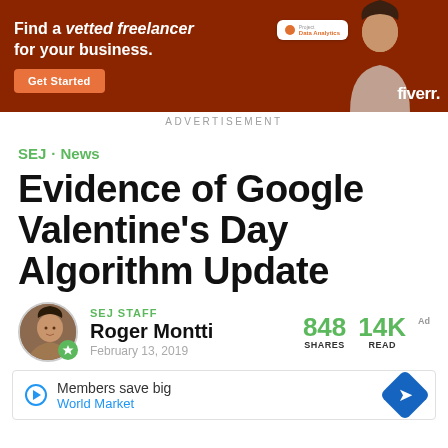[Figure (photo): Fiverr advertisement banner: orange/brown background with a woman in a turtleneck, text 'Find a vetted freelancer for your business.', Get Started button, Fiverr logo]
ADVERTISEMENT
SEJ · News
Evidence of Google Valentine's Day Algorithm Update
SEJ STAFF
Roger Montti
February 13, 2019
848 SHARES  14K READS
[Figure (screenshot): Advertisement banner: Members save big. World Market. With play icon and navigation arrow icon.]